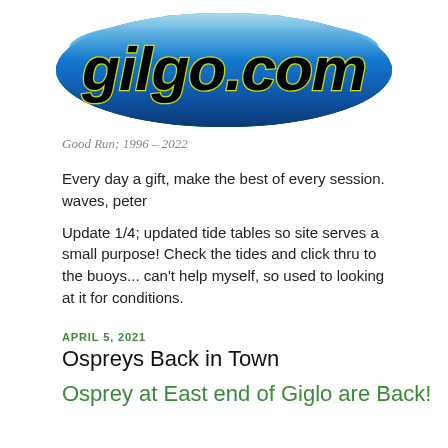[Figure (logo): gilgo.com logo — blue oval/surfboard shape with 'gilgo.com' in bold black italic text with yellow-green outline]
Good Run; 1996 – 2022
Every day a gift, make the best of every session. waves, peter
Update 1/4; updated tide tables so site serves a small purpose! Check the tides and click thru to the buoys... can't help myself, so used to looking at it for conditions.
APRIL 5, 2021
Ospreys Back in Town
Osprey at East end of Giglo are Back!